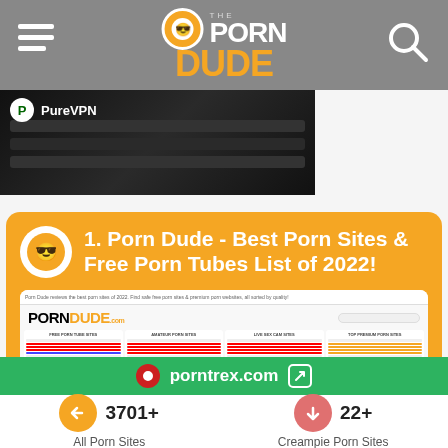The Porn Dude - header navigation with menu and search
[Figure (screenshot): PureVPN advertisement banner showing keyboard image]
1. Porn Dude - Best Porn Sites & Free Porn Tubes List of 2022!
[Figure (screenshot): Screenshot of PornDude.com website showing categories: Free Porn Tube Sites, Amateur Porn Sites, Live Sex Cam Sites, Top Premium Porn Sites]
porntrex.com
3701+
All Porn Sites
22+
Creampie Porn Sites